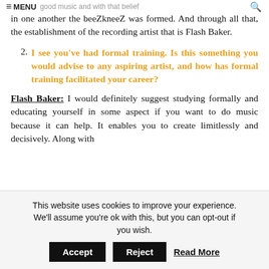≡ Menu good music and with that belief
in one another the beeZkneeZ was formed. And through all that, the establishment of the recording artist that is Flash Baker.
2. I see you've had formal training. Is this something you would advise to any aspiring artist, and how has formal training facilitated your career?
Flash Baker: I would definitely suggest studying formally and educating yourself in some aspect if you want to do music because it can help. It enables you to create limitlessly and decisively. Along with
This website uses cookies to improve your experience. We'll assume you're ok with this, but you can opt-out if you wish. Accept Reject Read More